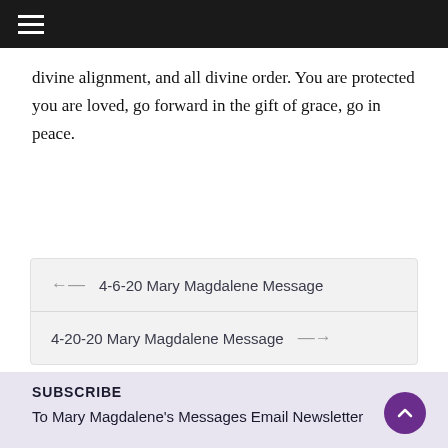≡ (hamburger menu)
divine alignment, and all divine order. You are protected you are loved, go forward in the gift of grace, go in peace.
← 4-6-20 Mary Magdalene Message
4-20-20 Mary Magdalene Message →
SUBSCRIBE
To Mary Magdalene's Messages Email Newsletter